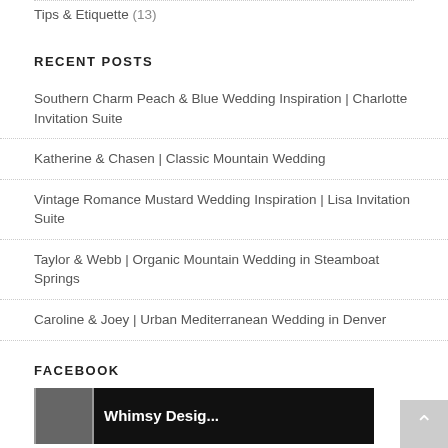Tips & Etiquette (13)
RECENT POSTS
Southern Charm Peach & Blue Wedding Inspiration | Charlotte Invitation Suite
Katherine & Chasen | Classic Mountain Wedding
Vintage Romance Mustard Wedding Inspiration | Lisa Invitation Suite
Taylor & Webb | Organic Mountain Wedding in Steamboat Springs
Caroline & Joey | Urban Mediterranean Wedding in Denver
FACEBOOK
[Figure (screenshot): Facebook page thumbnail showing Whimsy Desig... with dark background]